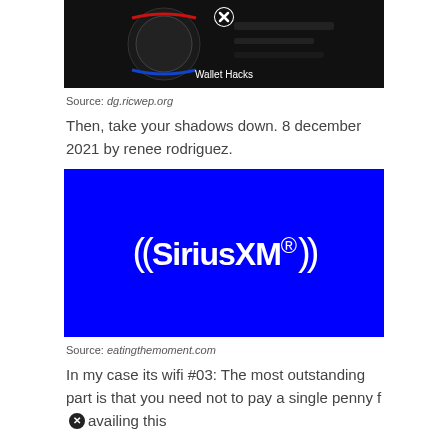[Figure (photo): Car dashboard/radio control panel with a close button overlay and 'Wallet Hacks' watermark at bottom]
Source: dg.ricwep.org
Then, take your shadows down. 8 december 2021 by renee rodriguez.
[Figure (logo): SiriusXM logo in white on blue background]
Source: eatingthemoment.com
In my case its wifi #03: The most outstanding part is that you need not to pay a single penny for availing this